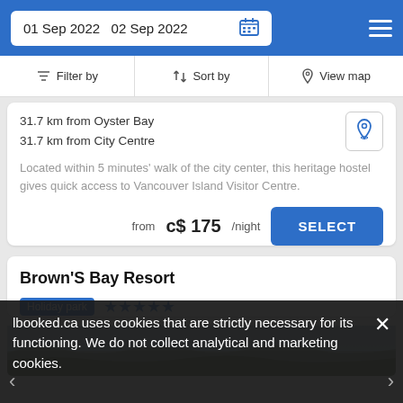01 Sep 2022  02 Sep 2022
Filter by  Sort by  View map
31.7 km from Oyster Bay
31.7 km from City Centre
Located within 5 minutes' walk of the city center, this heritage hostel gives quick access to Vancouver Island Visitor Centre.
from  c$ 175/night  SELECT
Brown'S Bay Resort
Holiday park  ★★★★★
[Figure (photo): Partial photo of Brown's Bay Resort showing rocky shoreline and water]
lbooked.ca uses cookies that are strictly necessary for its functioning. We do not collect analytical and marketing cookies.